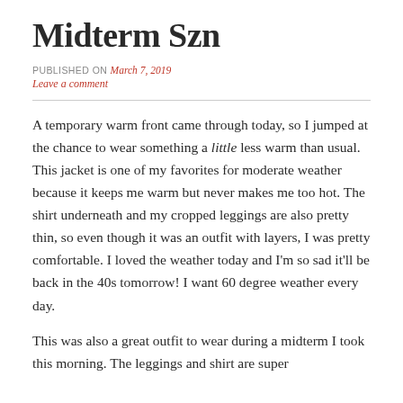Midterm Szn
PUBLISHED ON March 7, 2019
Leave a comment
A temporary warm front came through today, so I jumped at the chance to wear something a little less warm than usual. This jacket is one of my favorites for moderate weather because it keeps me warm but never makes me too hot. The shirt underneath and my cropped leggings are also pretty thin, so even though it was an outfit with layers, I was pretty comfortable. I loved the weather today and I'm so sad it'll be back in the 40s tomorrow! I want 60 degree weather every day.
This was also a great outfit to wear during a midterm I took this morning. The leggings and shirt are super